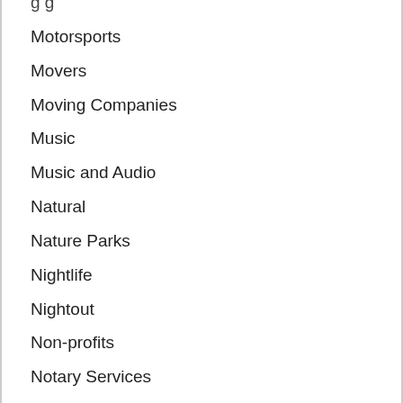Motorsports
Movers
Moving Companies
Music
Music and Audio
Natural
Nature Parks
Nightlife
Nightout
Non-profits
Notary Services
Novelties
Nutrition Store
Office Space
Oil Changes